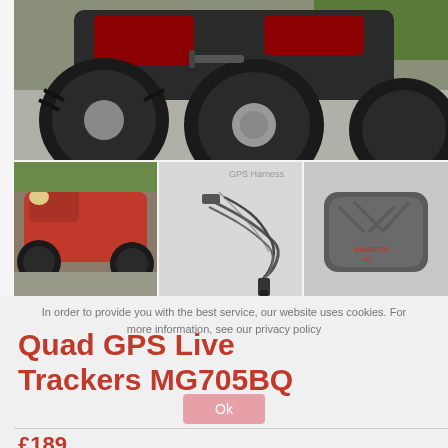[Figure (photo): Close-up photo of the rear of a red ATV/quad bike on a paved surface with grass in background, showing large knobby tires and exhaust pipe]
[Figure (photo): Three thumbnail images side by side: 1) full view of red quad ATV, 2) GPS tracker wiring harness/power cable accessory, 3) grey magnetic GPS tracker device (MG705BQ)]
In order to provide you with the best service, our website uses cookies. For more information, see our privacy policy
Quad GPS Live Trackers MG705BQ
Ok
£189